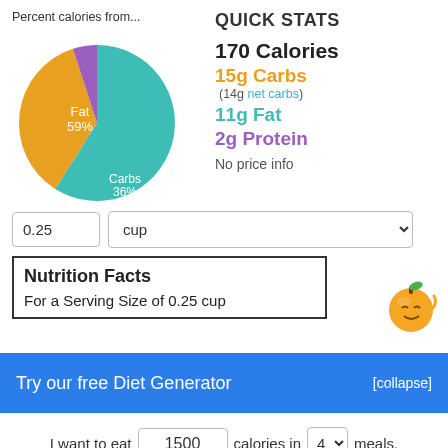Percent calories from...
[Figure (pie-chart): Percent calories from...]
QUICK STATS
170 Calories
15g Carbs
(14g net carbs)
11g Fat
2g Protein
No price info
0.25 cup
| Nutrition Facts |
| For a Serving Size of 0.25 cup |
Try our free Diet Generator
[collapse]
I want to eat 1500 calories in 4 meals.
Generate